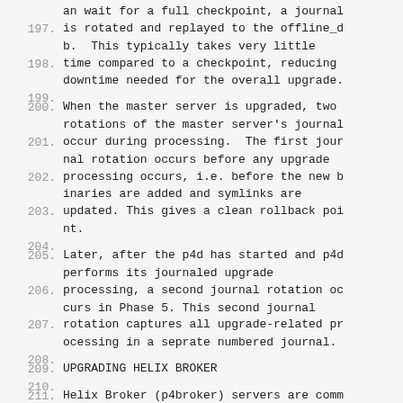an wait for a full checkpoint, a journal is rotated and replayed to the offline_db.  This typically takes very little
time compared to a checkpoint, reducing downtime needed for the overall upgrade.
When the master server is upgraded, two rotations of the master server's journal
occur during processing.  The first journal rotation occurs before any upgrade
processing occurs, i.e. before the new binaries are added and symlinks are
updated. This gives a clean rollback point.
Later, after the p4d has started and p4d performs its journaled upgrade
processing, a second journal rotation occurs in Phase 5. This second journal
rotation captures all upgrade-related processing in a seprate numbered journal.
UPGRADING HELIX BROKER
Helix Broker (p4broker) servers are comm only deployed on the same machine